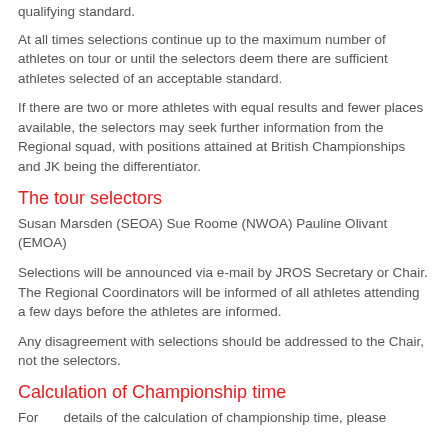qualifying standard.
At all times selections continue up to the maximum number of athletes on tour or until the selectors deem there are sufficient athletes selected of an acceptable standard.
If there are two or more athletes with equal results and fewer places available, the selectors may seek further information from the Regional squad, with positions attained at British Championships and JK being the differentiator.
The tour selectors
Susan Marsden (SEOA) Sue Roome (NWOA) Pauline Olivant (EMOA)
Selections will be announced via e-mail by JROS Secretary or Chair. The Regional Coordinators will be informed of all athletes attending a few days before the athletes are informed.
Any disagreement with selections should be addressed to the Chair, not the selectors.
Calculation of Championship time
For details of the calculation of championship time, please